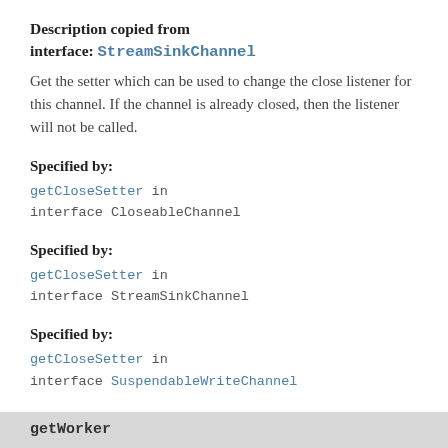Description copied from interface: StreamSinkChannel
Get the setter which can be used to change the close listener for this channel. If the channel is already closed, then the listener will not be called.
Specified by:
getCloseSetter in interface CloseableChannel
Specified by:
getCloseSetter in interface StreamSinkChannel
Specified by:
getCloseSetter in interface SuspendableWriteChannel
Returns:
the setter
getWorker